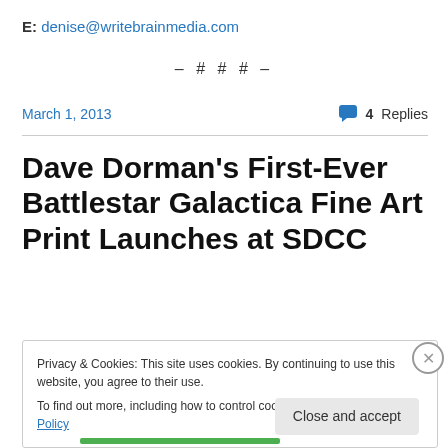E: denise@writebrainmedia.com
– # # # –
March 1, 2013
4 Replies
Dave Dorman's First-Ever Battlestar Galactica Fine Art Print Launches at SDCC
Privacy & Cookies: This site uses cookies. By continuing to use this website, you agree to their use. To find out more, including how to control cookies, see here: Cookie Policy